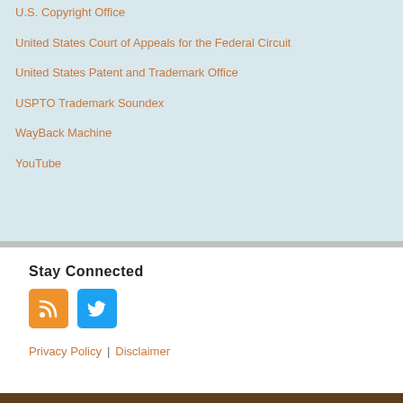U.S. Copyright Office
United States Court of Appeals for the Federal Circuit
United States Patent and Trademark Office
USPTO Trademark Soundex
WayBack Machine
YouTube
Stay Connected
[Figure (other): RSS feed icon (orange square with RSS symbol) and Twitter icon (blue square with bird)]
Privacy Policy | Disclaimer